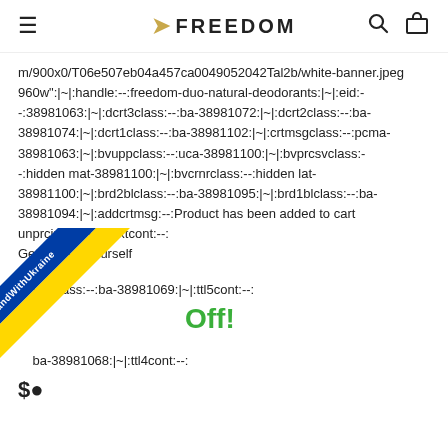FREEDOM
m/900x0/T06e507eb04a457ca0049052042Tal2b/white-banner.jpeg 960w":|~|:handle:--:freedom-duo-natural-deodorants:|~|:eid:-:38981063:|~|:dcrt3class:--:ba-38981072:|~|:dcrt2class:--:ba-38981074:|~|:dcrt1class:--:ba-38981102:|~|:crtmsgclass:--:pcma-38981063:|~|:bvuppclass:--:uca-38981100:|~|:bvprcsvclass:-:hidden mat-38981100:|~|:bvcrnrclass:--:hidden lat-38981100:|~|:brd2blclass:--:ba-38981095:|~|:brd1blclass:--:ba-38981094:|~|:addcrtmsg:--:Product has been added to cart unprcincl:--:1:|~|:txtcont:--: Get one for yourself
xtblclass:--:ba-38981069:|~|:ttl5cont:--:
Off!
ba-38981068:|~|:ttl4cont:--:
[Figure (other): #WeStandWithUkraine diagonal banner in blue and yellow]